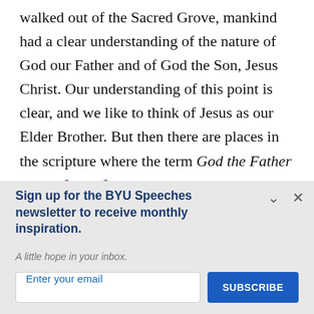walked out of the Sacred Grove, mankind had a clear understanding of the nature of God our Father and of God the Son, Jesus Christ. Our understanding of this point is clear, and we like to think of Jesus as our Elder Brother. But then there are places in the scripture where the term God the Father means Jesus. In
Sign up for the BYU Speeches newsletter to receive monthly inspiration.
A little hope in your inbox.
Enter your email
SUBSCRIBE